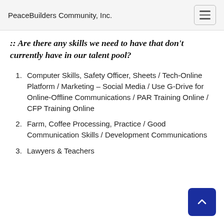PeaceBuilders Community, Inc.
:: Are there any skills we need to have that don't currently have in our talent pool?
Computer Skills, Safety Officer, Sheets / Tech-Online Platform / Marketing – Social Media / Use G-Drive for Online-Offline Communications / PAR Training Online / CFP Training Online
Farm, Coffee Processing, Practice / Good Communication Skills / Development Communications
Lawyers & Teachers